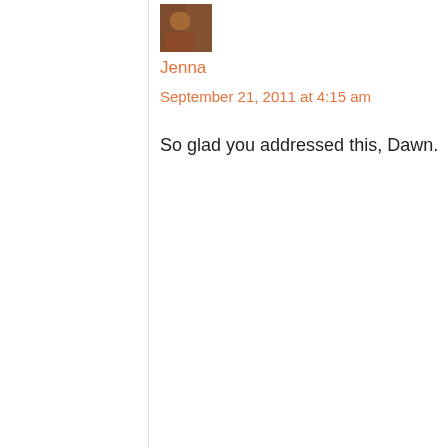[Figure (photo): Small avatar photo of the commenter Jenna, showing a person outdoors]
Jenna
September 21, 2011 at 4:15 am
So glad you addressed this, Dawn.
I struggled a lot with the same questions after reading a lot of birth mom/adoptee perspectives. As an adoptive mom, I can say that I know my son is where he needs to be and that I'm grateful to have him in my life. I do wish there wasn't a need for adoption to begin with, because doesn't every person deserve to be born with an uncomplicated life? I look at my son right now and see that he is so happy, and it snags at my heart to know there might be a time when he struggles with serious adoption and abandonment topics that were a part of his history before he was